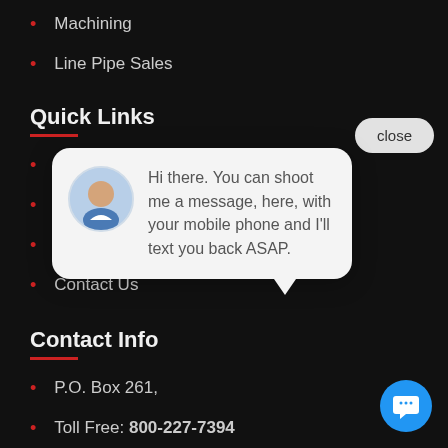Machining
Line Pipe Sales
Quick Links
About Us
Careers
Resources
Contact Us
Contact Info
P.O. Box 261,
Toll Free: 800-227-7394
Phone: 337-828-4479
Fax: 337-828-4517
[Figure (screenshot): Chat popup bubble with avatar photo of a man, showing message: 'Hi there. You can shoot me a message, here, with your mobile phone and I''ll text you back ASAP.' with a close button and blue chat icon.]